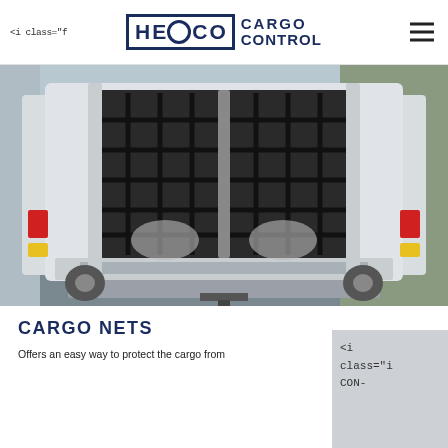<i class="fa fa-shopping-cart"> HECO CARGO CONTROL
[Figure (photo): Rear view of a white van with open doors showing a black cargo net installed across the cargo area. Two vans are parked side by side. The cargo net has a grid pattern securing the load space.]
CARGO NETS
Offers an easy way to protect the cargo from...